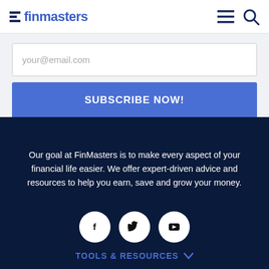finmasters
your@email.com
SUBSCRIBE NOW!
Our goal at FinMasters is to make every aspect of your financial life easier. We offer expert-driven advice and resources to help you earn, save and grow your money.
[Figure (illustration): Three social media icon circles: Facebook (f), Twitter (bird), YouTube (play button)]
TOOLS & RESOURCES